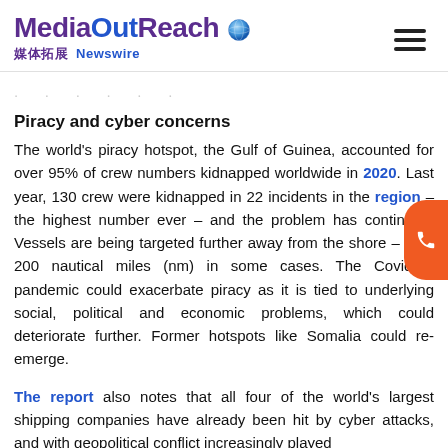MediaOutReach 媒体拓展 Newswire
. . . . . .
Piracy and cyber concerns
The world's piracy hotspot, the Gulf of Guinea, accounted for over 95% of crew numbers kidnapped worldwide in 2020. Last year, 130 crew were kidnapped in 22 incidents in the region – the highest number ever – and the problem has continued. Vessels are being targeted further away from the shore – over 200 nautical miles (nm) in some cases. The Covid-19 pandemic could exacerbate piracy as it is tied to underlying social, political and economic problems, which could deteriorate further. Former hotspots like Somalia could re-emerge.
The report also notes that all four of the world's largest shipping companies have already been hit by cyber attacks, and with geopolitical conflict increasingly played